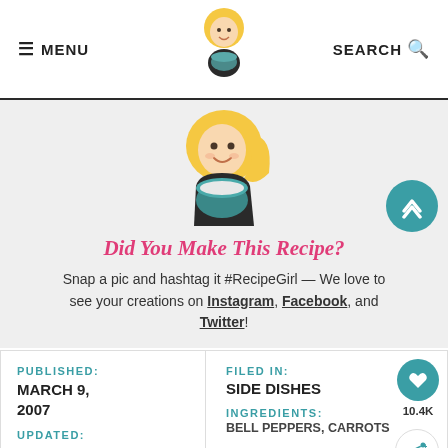≡ MENU | [Logo] | SEARCH 🔍
[Figure (illustration): Cartoon blonde woman holding a mixing bowl - RecipeGirl mascot, large version in gray section]
Did You Make This Recipe?
Snap a pic and hashtag it #RecipeGirl — We love to see your creations on Instagram, Facebook, and Twitter!
PUBLISHED: MARCH 9, 2007
UPDATED:
FILED IN: SIDE DISHES
INGREDIENTS: BELL PEPPERS, CARROTS
[Figure (photo): Advertisement banner - Thank you Operation Gratitude with photo of firefighters]